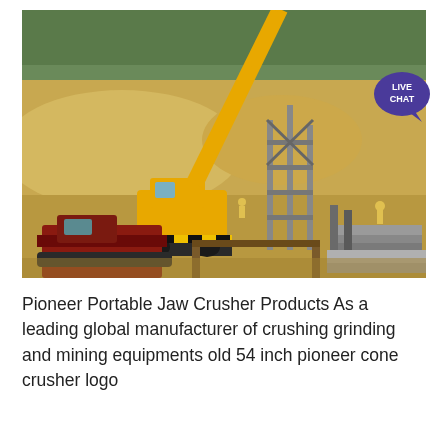[Figure (photo): A yellow mobile crane at a mining/construction site with sandy terrain, tree line in background, and construction equipment including a red bulldozer in the foreground. A 'LIVE CHAT' badge appears in the upper right of the image.]
Pioneer Portable Jaw Crusher Products As a leading global manufacturer of crushing grinding and mining equipments old 54 inch pioneer cone crusher logo